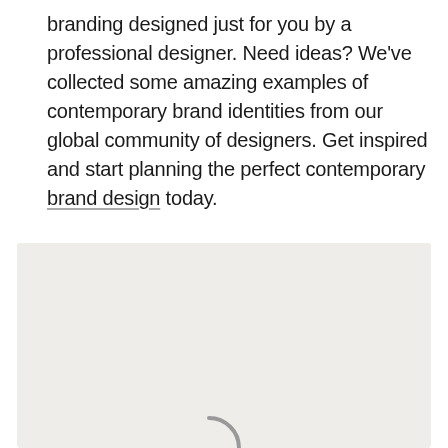branding designed just for you by a professional designer. Need ideas? We've collected some amazing examples of contemporary brand identities from our global community of designers. Get inspired and start planning the perfect contemporary brand design today.
[Figure (other): Light gray rectangular content area with a partially visible loading spinner arc at the bottom center]